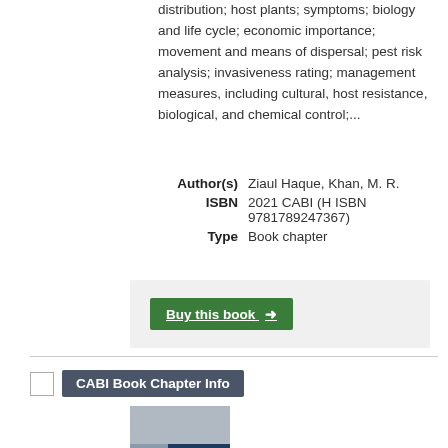distribution; host plants; symptoms; biology and life cycle; economic importance; movement and means of dispersal; pest risk analysis; invasiveness rating; management measures, including cultural, host resistance, biological, and chemical control;...
| Author(s) | Ziaul Haque, Khan, M. R. |
| ISBN | 2021 CABI (H ISBN 9781789247367) |
| Type | Book chapter |
Buy this book →
CABI Book Chapter Info
[Figure (photo): Book cover of Handbook of Invasive Plant-Parasitic Nematodes by Ziaul Haque and Maqbool Rahman Khan, dark blue cover with microscopy images]